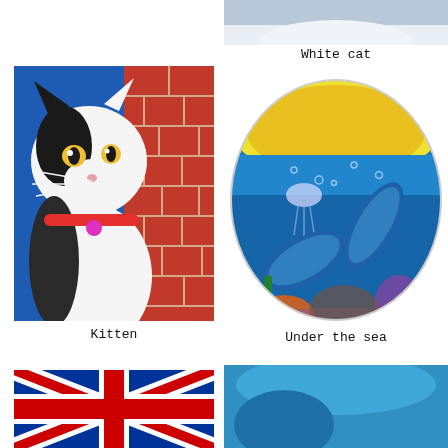[Figure (photo): Partial view of a white cat at the top of the right column, cropped at the top edge]
White cat
[Figure (illustration): Illustration of a black and white cat with a red collar peeking out from behind a red brick wall against a blue background]
Kitten
[Figure (illustration): Oval illustration of two dolphins underwater with coral, jellyfish, and sunlight rays from above]
Under the sea
[Figure (photo): Photo of a Union Jack (British flag) partially cropped at the bottom left]
[Figure (photo): Partial photo at the bottom right, appears to be an underwater or animal scene, cropped]